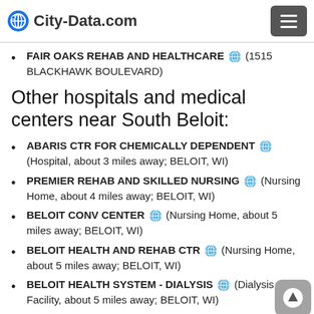City-Data.com
FAIR OAKS REHAB AND HEALTHCARE (1515 BLACKHAWK BOULEVARD)
Other hospitals and medical centers near South Beloit:
ABARIS CTR FOR CHEMICALLY DEPENDENT (Hospital, about 3 miles away; BELOIT, WI)
PREMIER REHAB AND SKILLED NURSING (Nursing Home, about 4 miles away; BELOIT, WI)
BELOIT CONV CENTER (Nursing Home, about 5 miles away; BELOIT, WI)
BELOIT HEALTH AND REHAB CTR (Nursing Home, about 5 miles away; BELOIT, WI)
BELOIT HEALTH SYSTEM - DIALYSIS (Dialysis Facility, about 5 miles away; BELOIT, WI)
BELOIT MEM HSPTL Acute Care Hospitals (about 5 miles away; BELOIT, WI)